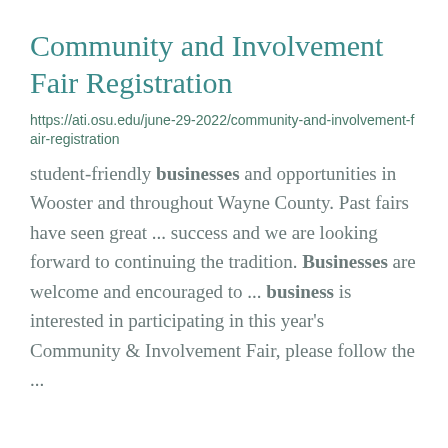Community and Involvement Fair Registration
https://ati.osu.edu/june-29-2022/community-and-involvement-fair-registration
student-friendly businesses and opportunities in Wooster and throughout Wayne County. Past fairs have seen great ... success and we are looking forward to continuing the tradition. Businesses are welcome and encouraged to ... business is interested in participating in this year's Community & Involvement Fair, please follow the ...